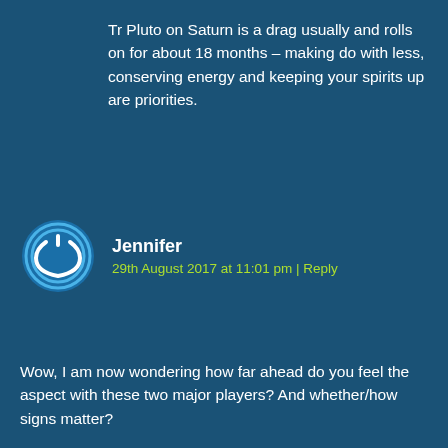Tr Pluto on Saturn is a drag usually and rolls on for about 18 months – making do with less, conserving energy and keeping your spirits up are priorities.
Jennifer
29th August 2017 at 11:01 pm | Reply
Wow, I am now wondering how far ahead do you feel the aspect with these two major players? And whether/how signs matter?

The chickens are coming home to roost!!!